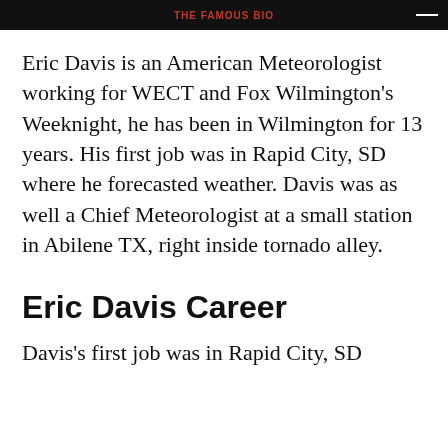THE FAMOUS BIO
Eric Davis is an American Meteorologist working for WECT and Fox Wilmington's Weeknight, he has been in Wilmington for 13 years. His first job was in Rapid City, SD where he forecasted weather. Davis was as well a Chief Meteorologist at a small station in Abilene TX, right inside tornado alley.
Eric Davis Career
Davis's first job was in Rapid City, SD